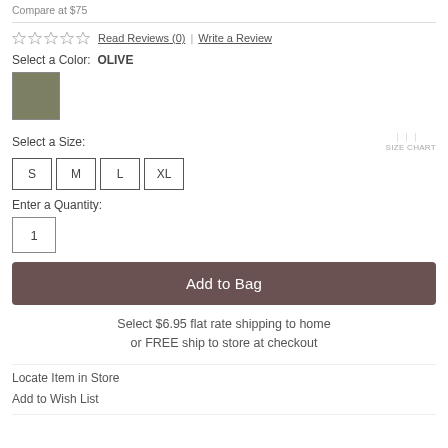Compare at $75
★★★★★  Read Reviews (0)  |  Write a Review
Select a Color:  OLIVE
[Figure (illustration): Olive color swatch square]
Select a Size:
S  M  L  XL
Enter a Quantity:
1
Add to Bag
Select $6.95 flat rate shipping to home or FREE ship to store at checkout
Locate Item in Store
Add to Wish List